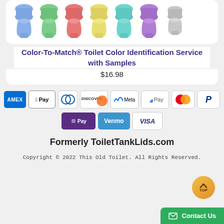[Figure (illustration): Row of colorful toilet illustrations in blue, green, red/pink, yellow, teal, purple, and grey colors]
Color-To-Match® Toilet Color Identification Service with Samples
$16.98
[Figure (infographic): Payment method badges: American Express, Apple Pay, Diners Club, Discover, Meta Pay, Google Pay, Mastercard, PayPal, Shop Pay, Venmo, Visa]
Formerly ToiletTankLids.com
Copyright © 2022 This Old Toilet. All Rights Reserved.